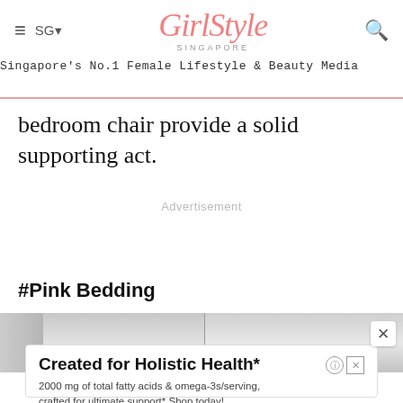GirlStyle SINGAPORE — Singapore's No.1 Female Lifestyle & Beauty Media
bedroom chair provide a solid supporting act.
Advertisement
#Pink Bedding
[Figure (photo): Partial view of a bedroom or product image strip in grayscale]
[Figure (screenshot): Advertisement banner: Created for Holistic Health* — 2000 mg of total fatty acids & omega-3s/serving, crafted for ultimate support* Shop today! Enzymedica® — Shop Now button]